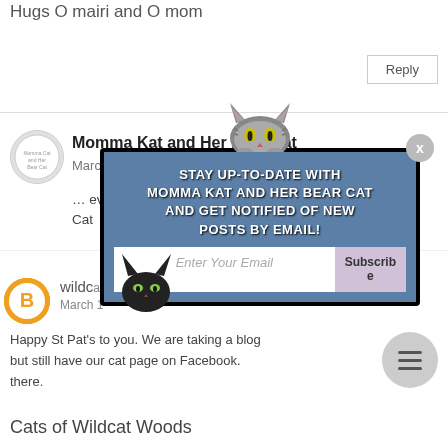Hugs O mairi and O mom
Reply
Momma Kat and Her Bear Cat
March 17, 2017 PM
everyone Cat
wildca
March 1
Happy St Pat's to you. We are taking a blog but still have our cat page on Facebook. there.
[Figure (other): Email subscription popup overlay with cat illustration, blue background with text: STAY UP-TO-DATE WITH MOMMA KAT AND HER BEAR CAT AND GET NOTIFIED OF NEW POSTS BY EMAIL! with email input and Subscribe button]
Cats of Wildcat Woods